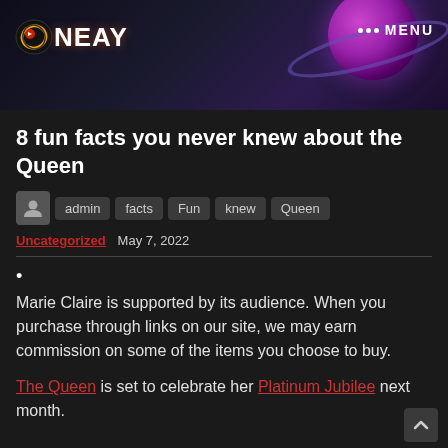[Figure (screenshot): Website header banner with dark space background, purple planet on right, ONEAY logo on left, and MENU navigation on right]
8 fun facts you never knew about the Queen
admin  facts  Fun  knew  Queen
Uncategorized  May 7, 2022
•
Marie Claire is supported by its audience. When you purchase through links on our site, we may earn commission on some of the items you choose to buy.
The Queen is set to celebrate her Platinum Jubilee next month.
Her Majesty is the longest reigning monarch, a title she...